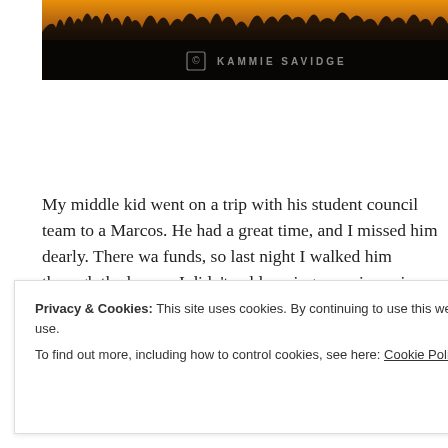[Figure (photo): Sunset/dusk photograph with silhouetted grass or reeds against a warm orange-golden sky, darkening toward the bottom. Watermark text reads 'KAMMIE SAVIDGE' with a copyright icon.]
My middle kid went on a trip with his student council team to a [San] Marcos. He had a great time, and I missed him dearly. There wa[s a lesson about] funds, so last night I walked him through the lesson. I didn't yel[l. It was a] learning experience in humility and choices for him.
Privacy & Cookies: This site uses cookies. By continuing to use this website, you agree to their use.
To find out more, including how to control cookies, see here: Cookie Policy
Close and accept